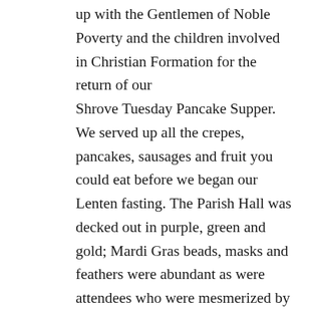up with the Gentlemen of Noble Poverty and the children involved in Christian Formation for the return of our Shrove Tuesday Pancake Supper. We served up all the crepes, pancakes, sausages and fruit you could eat before we began our Lenten fasting. The Parish Hall was decked out in purple, green and gold; Mardi Gras beads, masks and feathers were abundant as were attendees who were mesmerized by a performance of a local magician.

We realized after our COVID comeback that we needed to freshen up some of our Parish Life “staples.” Dark blue aprons